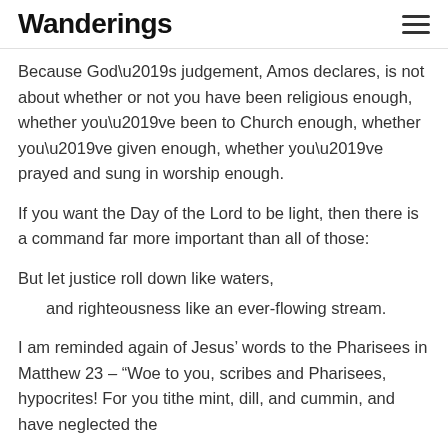Wanderings
Because God’s judgement, Amos declares, is not about whether or not you have been religious enough, whether you’ve been to Church enough, whether you’ve given enough, whether you’ve prayed and sung in worship enough.
If you want the Day of the Lord to be light, then there is a command far more important than all of those:
But let justice roll down like waters,
and righteousness like an ever-flowing stream.
I am reminded again of Jesus’ words to the Pharisees in Matthew 23 – “Woe to you, scribes and Pharisees, hypocrites! For you tithe mint, dill, and cummin, and have neglected the